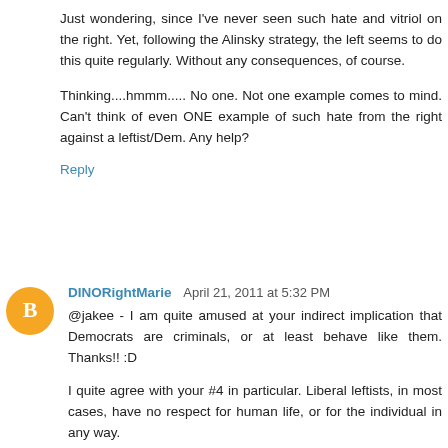Just wondering, since I've never seen such hate and vitriol on the right. Yet, following the Alinsky strategy, the left seems to do this quite regularly. Without any consequences, of course.
Thinking....hmmm..... No one. Not one example comes to mind. Can't think of even ONE example of such hate from the right against a leftist/Dem. Any help?
Reply
DINORightMarie April 21, 2011 at 5:32 PM
@jakee - I am quite amused at your indirect implication that Democrats are criminals, or at least behave like them. Thanks!! :D
I quite agree with your #4 in particular. Liberal leftists, in most cases, have no respect for human life, or for the individual in any way.
How they can live with themselves is beyond me. Lots of